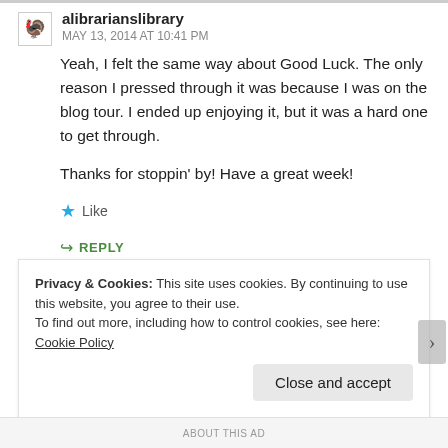alibrarianslibrary
MAY 13, 2014 AT 10:41 PM
Yeah, I felt the same way about Good Luck. The only reason I pressed through it was because I was on the blog tour. I ended up enjoying it, but it was a hard one to get through.

Thanks for stoppin' by! Have a great week!
Like
REPLY
Privacy & Cookies: This site uses cookies. By continuing to use this website, you agree to their use.
To find out more, including how to control cookies, see here: Cookie Policy
Close and accept